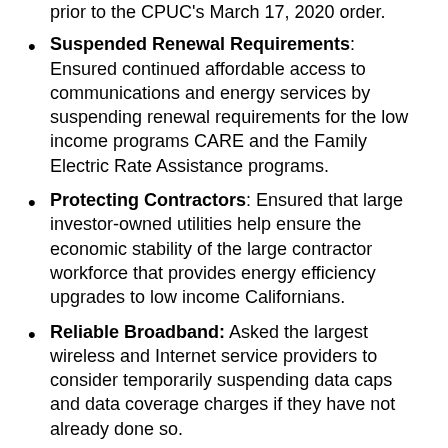prior to the CPUC's March 17, 2020 order.
Suspended Renewal Requirements: Ensured continued affordable access to communications and energy services by suspending renewal requirements for the low income programs CARE and the Family Electric Rate Assistance programs.
Protecting Contractors: Ensured that large investor-owned utilities help ensure the economic stability of the large contractor workforce that provides energy efficiency upgrades to low income Californians.
Reliable Broadband: Asked the largest wireless and Internet service providers to consider temporarily suspending data caps and data coverage charges if they have not already done so.